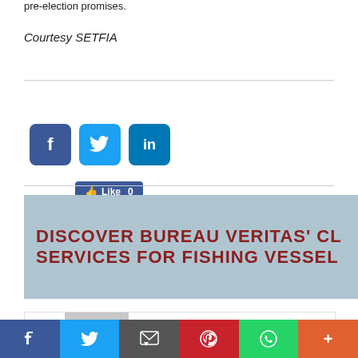pre-election promises.
Courtesy SETFIA
[Figure (screenshot): Facebook Like button showing 'Like 0']
[Figure (screenshot): Social sharing icons: Facebook, Twitter, LinkedIn]
[Figure (screenshot): Banner advertisement: DISCOVER BUREAU VERITAS' CL... SERVICES FOR FISHING VESSEL...]
[Figure (screenshot): Author box with grey avatar placeholder]
[Figure (screenshot): Bottom social sharing bar with Facebook, Twitter, Email, Pinterest, WhatsApp, More icons]